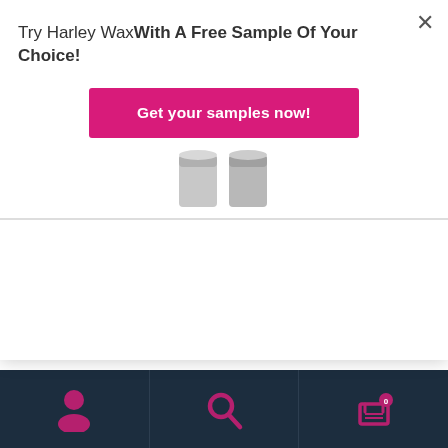Try Harley WaxWith A Free Sample Of Your Choice!
Get your samples now!
[Figure (photo): Two wax container cups, silver/grey colored, partially visible at the bottom of the modal area]
Many therapists wonder whether strip wax or hard wax is best for Brazilian waxing. Let’s compare the application techniques for both strip and hard waxes.
Hard Wax Bears All (and bares it too)
[Figure (infographic): Bottom navigation bar with dark navy background containing three icons: a person/account icon (magenta), a search magnifying glass icon (magenta), and a shopping cart icon (magenta) with a badge showing 0]